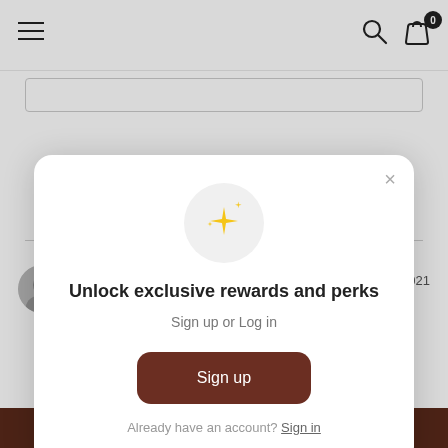[Figure (screenshot): Navigation bar with hamburger menu on left, search icon and shopping bag icon with badge '0' on right]
Faith L.
02/19/2021
[Figure (screenshot): Modal popup with sparkle emoji icon, title 'Unlock exclusive rewards and perks', subtitle 'Sign up or Log in', a dark brown 'Sign up' button, and footer 'Already have an account? Sign in']
Unlock exclusive rewards and perks
Sign up or Log in
Sign up
Already have an account? Sign in